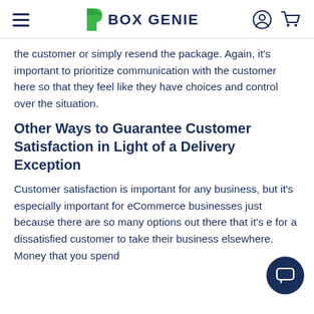BOX GENIE (navigation bar with hamburger menu, logo, user icon, and cart icon)
the customer or simply resend the package. Again, it's important to prioritize communication with the customer here so that they feel like they have choices and control over the situation.
Other Ways to Guarantee Customer Satisfaction in Light of a Delivery Exception
Customer satisfaction is important for any business, but it's especially important for eCommerce businesses just because there are so many options out there that it's e… for a dissatisfied customer to take their business elsewhere. Money that you spend